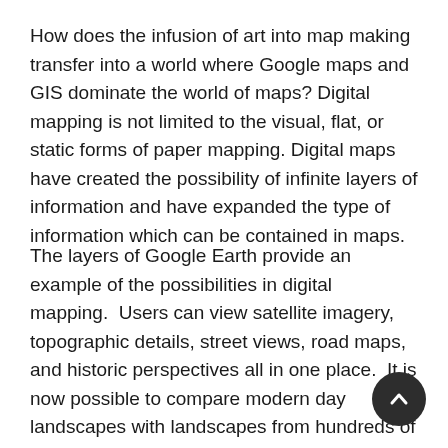How does the infusion of art into map making transfer into a world where Google maps and GIS dominate the world of maps? Digital mapping is not limited to the visual, flat, or static forms of paper mapping. Digital maps have created the possibility of infinite layers of information and have expanded the type of information which can be contained in maps.
The layers of Google Earth provide an example of the possibilities in digital mapping.  Users can view satellite imagery, topographic details, street views, road maps, and historic perspectives all in one place.  It is now possible to compare modern day landscapes with landscapes from hundreds of years